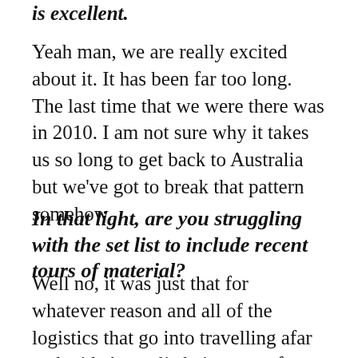is excellent.
Yeah man, we are really excited about it. It has been far too long. The last time that we were there was in 2010. I am not sure why it takes us so long to get back to Australia but we've got to break that pattern somehow.
In that light, are you struggling with the set list to include recent tours of material?
Well no, it was just that for whatever reason and all of the logistics that go into travelling afar and with Australia being one of those places, it is just difficult to work everything out and make it align so that we can come there easily. But, you know, it worked out this time